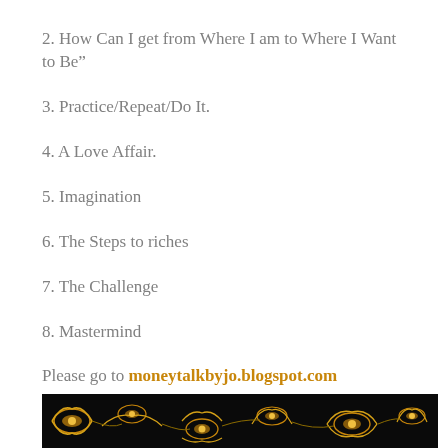2. How Can I get from Where I am to Where I Want to Be”
3. Practice/Repeat/Do It.
4. A Love Affair.
5. Imagination
6. The Steps to riches
7. The Challenge
8. Mastermind
Please go to moneytalkbyjo.blogspot.com
[Figure (photo): Decorative black background with gold floral pattern border at bottom of page]